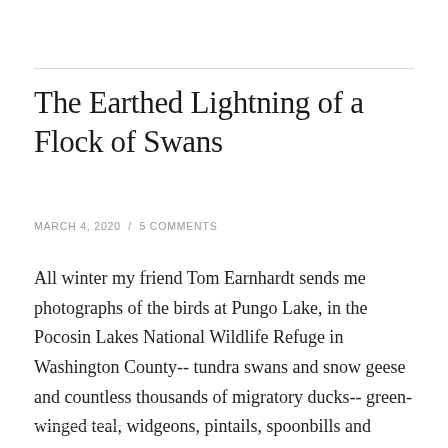The Earthed Lightning of a Flock of Swans
MARCH 4, 2020 / 5 COMMENTS
All winter my friend Tom Earnhardt sends me photographs of the birds at Pungo Lake, in the Pocosin Lakes National Wildlife Refuge in Washington County-- tundra swans and snow geese and countless thousands of migratory ducks-- green-winged teal, widgeons, pintails, spoonbills and many others.